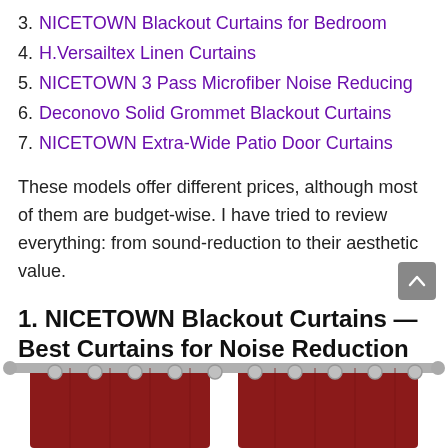3. NICETOWN Blackout Curtains for Bedroom
4. H.Versailtex Linen Curtains
5. NICETOWN 3 Pass Microfiber Noise Reducing
6. Deconovo Solid Grommet Blackout Curtains
7. NICETOWN Extra-Wide Patio Door Curtains
These models offer different prices, although most of them are budget-wise. I have tried to review everything: from sound-reduction to their aesthetic value.
1. NICETOWN Blackout Curtains — Best Curtains for Noise Reduction
[Figure (photo): Bottom portion of dark red/burgundy blackout curtains hanging on a silver curtain rod with metal grommets, partially visible at the bottom of the page.]